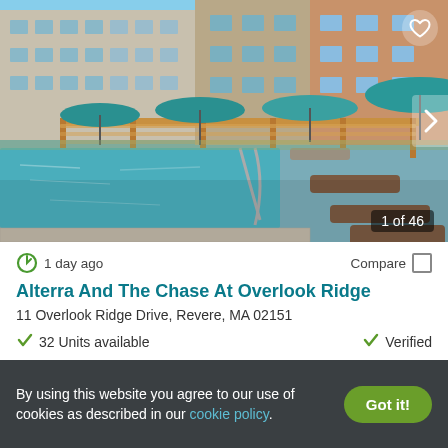[Figure (photo): Outdoor pool area of Alterra And The Chase At Overlook Ridge apartment complex, showing a large swimming pool with lounge chairs, teal market umbrellas, wooden pergola structure, and the multi-story apartment building in the background under a blue sky.]
1 of 46
1 day ago
Compare
Alterra And The Chase At Overlook Ridge
11 Overlook Ridge Drive, Revere, MA 02151
32 Units available
Verified
1 BED
By using this website you agree to our use of cookies as described in our cookie policy.